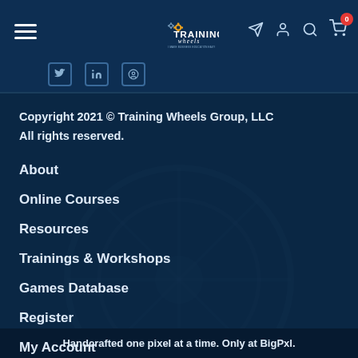Training Wheels — site header with logo, navigation hamburger, icons, and social links
Copyright 2021 © Training Wheels Group, LLC
All rights reserved.
About
Online Courses
Resources
Trainings & Workshops
Games Database
Register
My Account
Handcrafted one pixel at a time. Only at BigPxl.